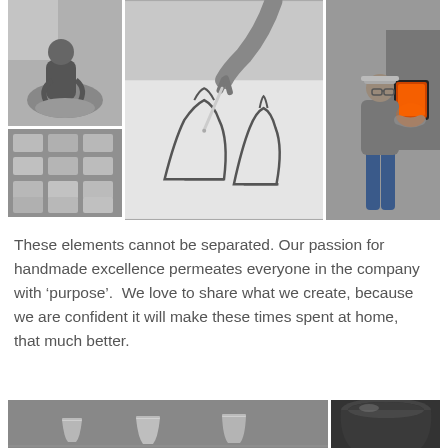[Figure (photo): Collage of four black-and-white photos: top-left shows a person working at a pottery wheel; bottom-left shows small packaged/labeled items arranged in rows; center shows hands sketching a product design with a pen; right shows a man in a cap and glasses working near glowing industrial furnace.]
These elements cannot be separated. Our passion for handmade excellence permeates everyone in the company with ‘purpose’.  We love to share what we create, because we are confident it will make these times spent at home, that much better.
[Figure (photo): Two black-and-white photos side by side at bottom: left shows multiple glass vessels/tumblers arranged on a surface; right shows a close-up of a dark rounded glass or vessel.]